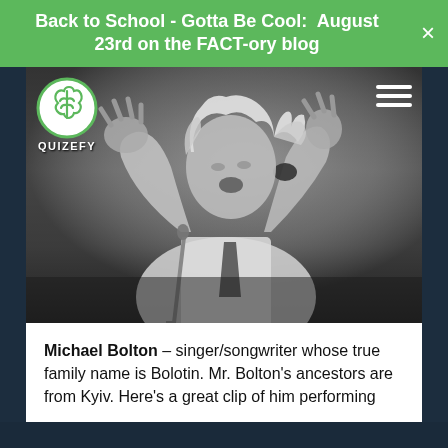Back to School - Gotta Be Cool:  August 23rd on the FACT-ory blog
[Figure (photo): Black and white photo of Michael Bolton performing on stage, arms raised with hands outstretched, head tilted back singing passionately, with wild curly hair and wearing a white shirt. A microphone stand is visible.]
Michael Bolton – singer/songwriter whose true family name is Bolotin. Mr. Bolton's ancestors are from Kyiv. Here's a great clip of him performing